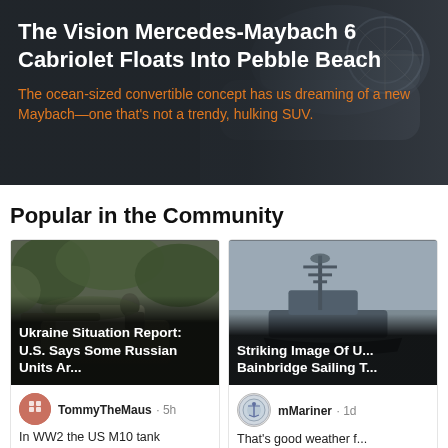[Figure (photo): Hero banner with dark overlay showing a car (Mercedes-Maybach concept), background photo.]
The Vision Mercedes-Maybach 6 Cabriolet Floats Into Pebble Beach
The ocean-sized convertible concept has us dreaming of a new Maybach—one that's not a trendy, hulking SUV.
Popular in the Community
[Figure (photo): Military tank with soldier in forest/field, Ukraine conflict photo.]
Ukraine Situation Report: U.S. Says Some Russian Units Ar...
[Figure (photo): Naval destroyer ship silhouette in misty water, USS Bainbridge photo.]
Striking Image Of U... Bainbridge Sailing T...
TommyTheMaus · 5h
In WW2 the US M10 tank
mMariner · 1d
That's good weather f...